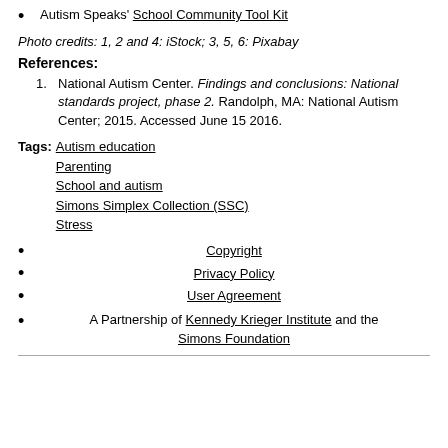Autism Speaks' School Community Tool Kit
Photo credits: 1, 2 and 4: iStock; 3, 5, 6: Pixabay
References:
National Autism Center. Findings and conclusions: National standards project, phase 2. Randolph, MA: National Autism Center; 2015. Accessed June 15 2016.
Tags: Autism education Parenting School and autism Simons Simplex Collection (SSC) Stress
Copyright
Privacy Policy
User Agreement
A Partnership of Kennedy Krieger Institute and the Simons Foundation